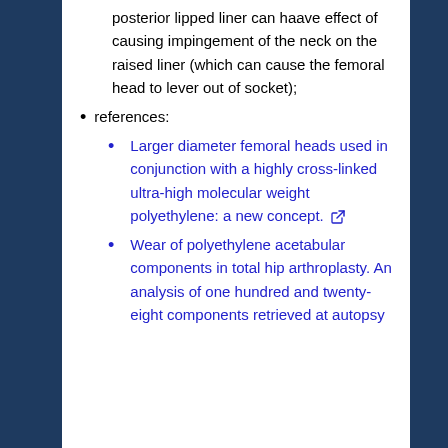posterior lipped liner can haave effect of causing impingement of the neck on the raised liner (which can cause the femoral head to lever out of socket);
references:
Larger diameter femoral heads used in conjunction with a highly cross-linked ultra-high molecular weight polyethylene: a new concept. [external link]
Wear of polyethylene acetabular components in total hip arthroplasty. An analysis of one hundred and twenty-eight components retrieved at autopsy